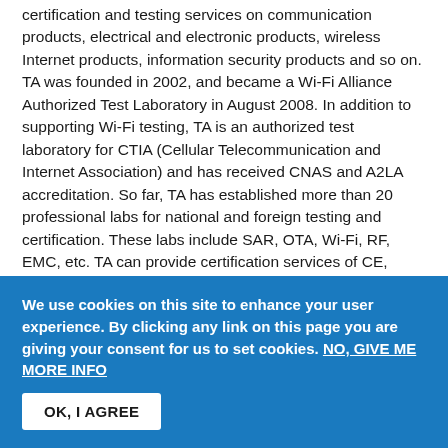certification and testing services on communication products, electrical and electronic products, wireless Internet products, information security products and so on. TA was founded in 2002, and became a Wi-Fi Alliance Authorized Test Laboratory in August 2008. In addition to supporting Wi-Fi testing, TA is an authorized test laboratory for CTIA (Cellular Telecommunication and Internet Association) and has received CNAS and A2LA accreditation. So far, TA has established more than 20 professional labs for national and foreign testing and certification. These labs include SAR, OTA, Wi-Fi, RF, EMC, etc. TA can provide certification services of CE, FCC, VCCI, RCM, Bluetooth, NFC, Mirrorlink, Wi-Fi, etc. for our customers. TA continues to improve its technological capability and cooperates with other laboratories in areas such as data comparison, technical seminars, etc. As a global third-party certification and test provider, TA upholds the principles of scientific rigor and fairness to offer services in international and national consulting, testing and customer support.
We use cookies on this site to enhance your user experience. By clicking any link on this page you are giving your consent for us to set cookies. NO, GIVE ME MORE INFO
OK, I AGREE